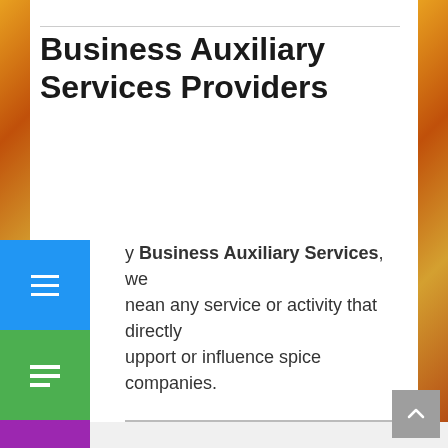Business Auxiliary Services Providers
By Business Auxiliary Services, we mean any service or activity that directly support or influence spice companies.
GF Certification